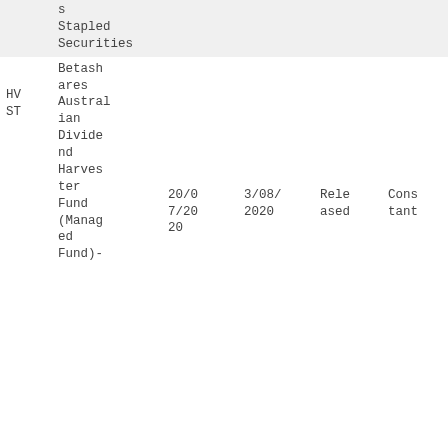| Ticker | Name | Date1 | Date2 | Status | Type |
| --- | --- | --- | --- | --- | --- |
|  | s Stapled Securities |  |  |  |  |
| HV ST | Betashares Australian Dividend Harvester Fund (Managed Fund)- | 20/07/2020 | 3/08/2020 | Released | Constant |